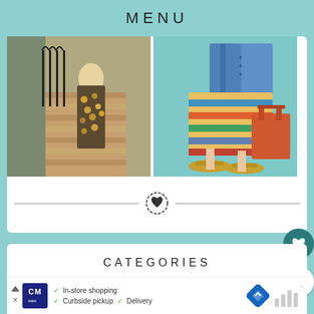MENU
[Figure (photo): Two fashion photos side by side: left shows a woman in a floral dress on a brick street; right shows a colorful striped skirt with denim jacket, orange tote bag, and gold sandals on teal background]
CATEGORIES
FASHION